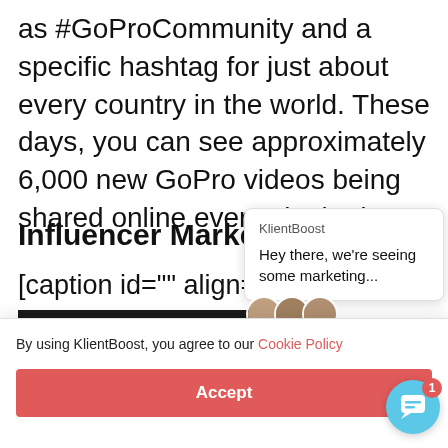as #GoProCommunity and a specific hashtag for just about every country in the world. These days, you can see approximately 6,000 new GoPro videos being shared online every single day.
Influencer Market
[caption id="" align="alig
[Figure (screenshot): Movie promotional image showing Elle Fanning and Nicholas Hoult for a Hulu original series titled 'Great', with dark background and golden stylized text]
[Figure (screenshot): KlientBoost chat popup showing brand name 'KlientBoost' and message 'Hey there, we're seeing some marketing...' with avatar circles]
By using KlientBoost, you agree to our Cookie Policy
Accept